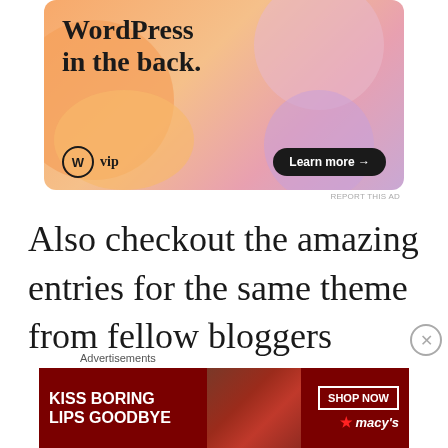[Figure (illustration): WordPress VIP advertisement with colorful gradient background (orange, pink, purple blobs). Shows text 'WordPress in the back.' with WordPress VIP logo on left and 'Learn more →' black pill button on right.]
REPORT THIS AD
Also checkout the amazing entries for the same theme from fellow bloggers
Advertisements
[Figure (illustration): Macy's advertisement with dark red background showing a woman's face with red lips. Left text: 'KISS BORING LIPS GOODBYE'. Right side: 'SHOP NOW' button and Macy's star logo.]